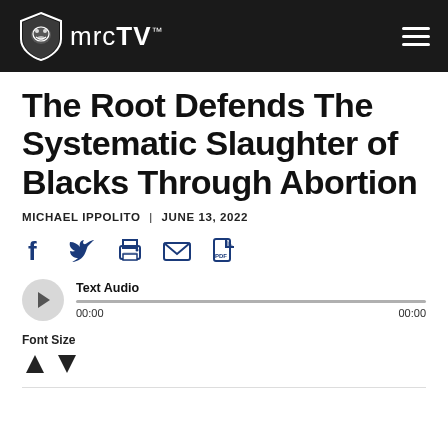mrcTV
The Root Defends The Systematic Slaughter of Blacks Through Abortion
MICHAEL IPPOLITO | JUNE 13, 2022
[Figure (other): Social sharing icons: Facebook, Twitter, Print, Email, PDF]
[Figure (other): Audio player with play button, progress bar showing 00:00 / 00:00, labeled Text Audio]
Font Size